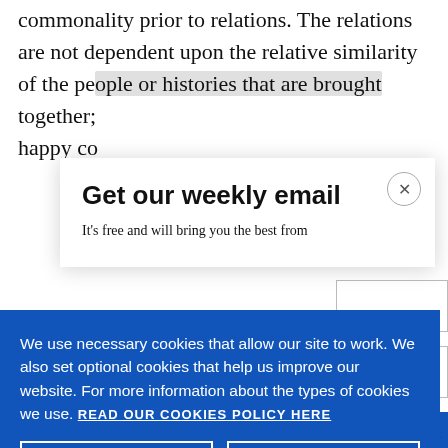commonality prior to relations. The relations are not dependent upon the relative similarity of the people or histories that are brought together; happy co...
Get our weekly email
It's free and will bring you the best from
We use necessary cookies that allow our site to work. We also set optional cookies that help us improve our website. For more information about the types of cookies we use. READ OUR COOKIES POLICY HERE
COOKIE SETTINGS
ALLOW ALL COOKIES
data.